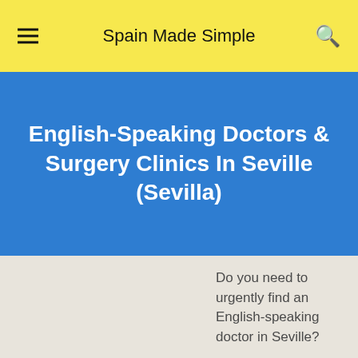Spain Made Simple
English-Speaking Doctors & Surgery Clinics In Seville (Sevilla)
Do you need to urgently find an English-speaking doctor in Seville?